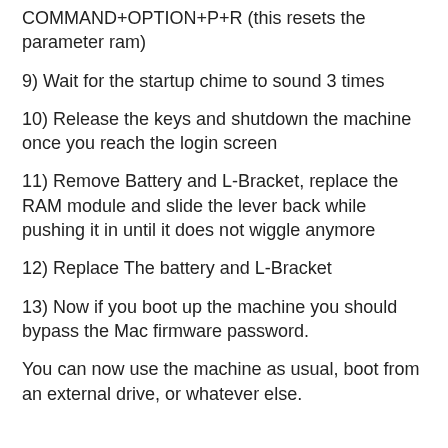COMMAND+OPTION+P+R (this resets the parameter ram)
9) Wait for the startup chime to sound 3 times
10) Release the keys and shutdown the machine once you reach the login screen
11) Remove Battery and L-Bracket, replace the RAM module and slide the lever back while pushing it in until it does not wiggle anymore
12) Replace The battery and L-Bracket
13) Now if you boot up the machine you should bypass the Mac firmware password.
You can now use the machine as usual, boot from an external drive, or whatever else.